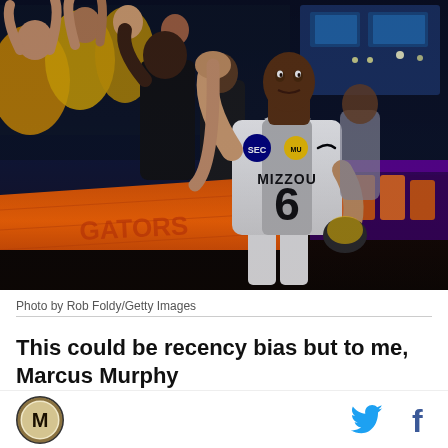[Figure (photo): A Missouri football player wearing jersey number 6 with MIZZOU on the front and SEC/Nike logos, celebrating with fans after a game. The player is high-fiving fans over an orange barrier. Stadium lights visible in background at night.]
Photo by Rob Foldy/Getty Images
This could be recency bias but to me, Marcus Murphy
[Figure (logo): Missouri Tigers circular site logo with M in center]